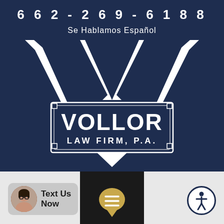662-269-6188
Se Hablamos Español
[Figure (logo): Vollor Law Firm, P.A. logo — large white V shape on dark navy background with a rectangular badge containing 'VOLLOR' in large serif letters and 'LAW FIRM, P.A.' below it]
Text Us Now
[Figure (illustration): Gold chat bubble icon with three horizontal lines]
[Figure (illustration): Accessibility icon — person figure in circle with dark navy border]